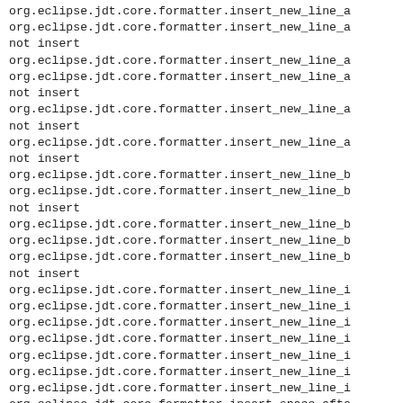org.eclipse.jdt.core.formatter.insert_new_line_a
org.eclipse.jdt.core.formatter.insert_new_line_a
not insert
org.eclipse.jdt.core.formatter.insert_new_line_a
org.eclipse.jdt.core.formatter.insert_new_line_a
not insert
org.eclipse.jdt.core.formatter.insert_new_line_a
not insert
org.eclipse.jdt.core.formatter.insert_new_line_a
not insert
org.eclipse.jdt.core.formatter.insert_new_line_b
org.eclipse.jdt.core.formatter.insert_new_line_b
not insert
org.eclipse.jdt.core.formatter.insert_new_line_b
org.eclipse.jdt.core.formatter.insert_new_line_b
org.eclipse.jdt.core.formatter.insert_new_line_b
not insert
org.eclipse.jdt.core.formatter.insert_new_line_in
org.eclipse.jdt.core.formatter.insert_new_line_in
org.eclipse.jdt.core.formatter.insert_new_line_in
org.eclipse.jdt.core.formatter.insert_new_line_in
org.eclipse.jdt.core.formatter.insert_new_line_in
org.eclipse.jdt.core.formatter.insert_new_line_in
org.eclipse.jdt.core.formatter.insert_new_line_in
org.eclipse.jdt.core.formatter.insert_space_afte
org.eclipse.jdt.core.formatter.insert_space_afte
org.eclipse.jdt.core.formatter.insert_space_afte